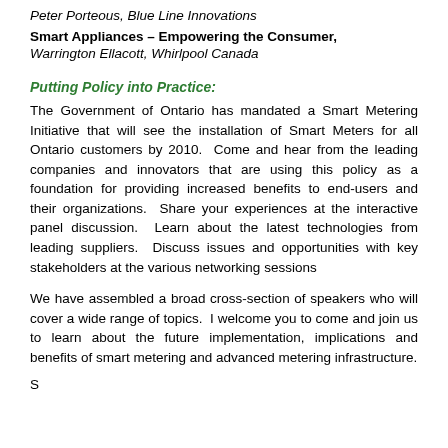Peter Porteous, Blue Line Innovations
Smart Appliances – Empowering the Consumer, Warrington Ellacott, Whirlpool Canada
Putting Policy into Practice:
The Government of Ontario has mandated a Smart Metering Initiative that will see the installation of Smart Meters for all Ontario customers by 2010. Come and hear from the leading companies and innovators that are using this policy as a foundation for providing increased benefits to end-users and their organizations. Share your experiences at the interactive panel discussion. Learn about the latest technologies from leading suppliers. Discuss issues and opportunities with key stakeholders at the various networking sessions
We have assembled a broad cross-section of speakers who will cover a wide range of topics. I welcome you to come and join us to learn about the future implementation, implications and benefits of smart metering and advanced metering infrastructure.